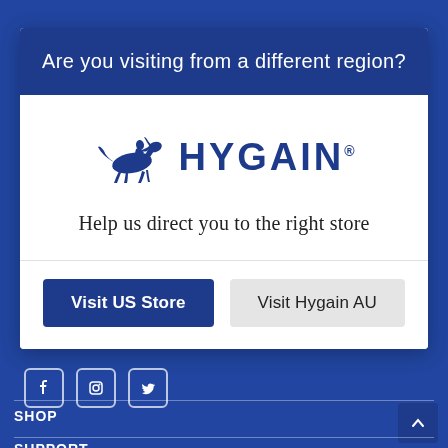Are you visiting from a different region?
[Figure (logo): HYGAIN brand logo with blue horse and rider silhouette and HYGAIN text]
Help us direct you to the right store
Visit US Store
Visit Hygain AU
SHOP
SUPPORT